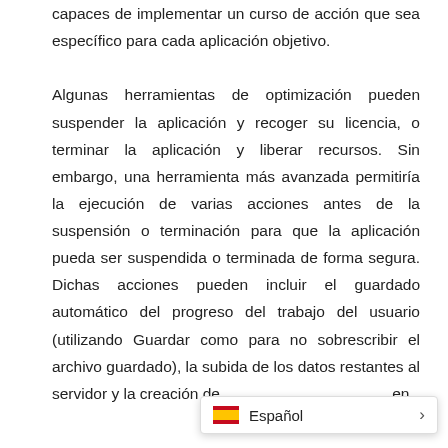capaces de implementar un curso de acción que sea específico para cada aplicación objetivo.

Algunas herramientas de optimización pueden suspender la aplicación y recoger su licencia, o terminar la aplicación y liberar recursos. Sin embargo, una herramienta más avanzada permitiría la ejecución de varias acciones antes de la suspensión o terminación para que la aplicación pueda ser suspendida o terminada de forma segura. Dichas acciones pueden incluir el guardado automático del progreso del trabajo del usuario (utilizando Guardar como para no sobrescribir el archivo guardado), la subida de los datos restantes al servidor y la creación de en